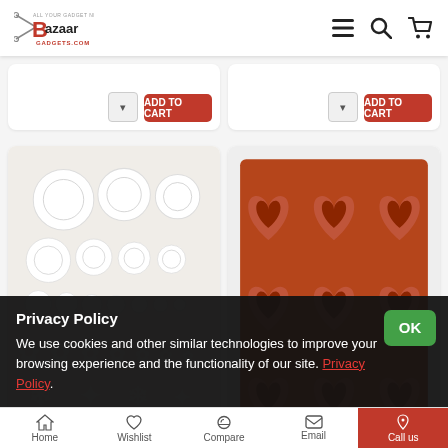Bazaar Gadgets - BazaarGadgets.com
[Figure (screenshot): Partial product cards at top with quantity selectors and red Add to Cart buttons]
[Figure (photo): Left product: White fondant flower cutter set with pink sticks and yellow flower]
[Figure (photo): Right product: 12 Cube Heart Shape brown silicone baking mold]
s Fondant...
12 Cube Heart Shape
Privacy Policy
We use cookies and other similar technologies to improve your browsing experience and the functionality of our site. Privacy Policy.
Home   Wishlist   Compare   Email   Call us